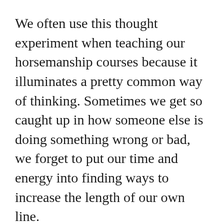We often use this thought experiment when teaching our horsemanship courses because it illuminates a pretty common way of thinking. Sometimes we get so caught up in how someone else is doing something wrong or bad, we forget to put our time and energy into finding ways to increase the length of our own line.
If you look at the lines as representing skill sets, you can see that shortening someone else’s “line” is what happens when we choose to run people down. I’m not talking about giving up your opinions or beliefs. What I